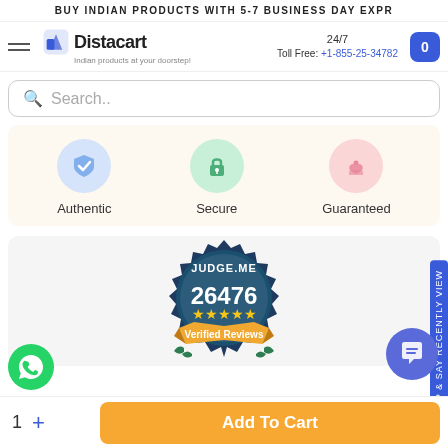BUY INDIAN PRODUCTS WITH 5-7 BUSINESS DAY EXPR
[Figure (logo): Distacart logo with text 'Indian products at your doorstep!']
24/7 Toll Free: +1-855-25-34782
Search..
[Figure (infographic): Three trust icons: Authentic (blue shield with checkmark), Secure (green lock), Guaranteed (pink hands with heart)]
[Figure (infographic): Judge.me badge showing 26476 Verified Reviews with 5-star rating]
1 + Add To Cart